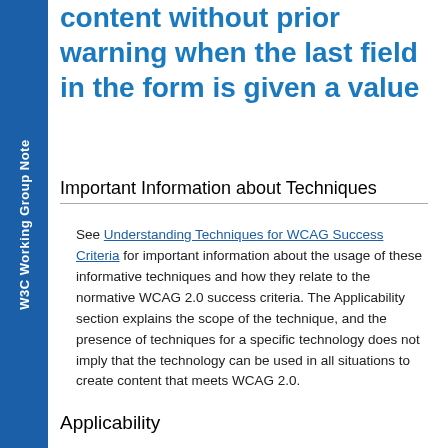W3C Working Group Note
content without prior warning when the last field in the form is given a value
Important Information about Techniques
See Understanding Techniques for WCAG Success Criteria for important information about the usage of these informative techniques and how they relate to the normative WCAG 2.0 success criteria. The Applicability section explains the scope of the technique, and the presence of techniques for a specific technology does not imply that the technology can be used in all situations to create content that meets WCAG 2.0.
Applicability